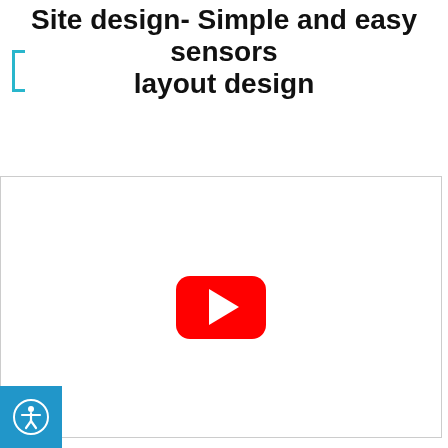Site design- Simple and easy sensors layout design
[Figure (screenshot): YouTube video embed placeholder showing a red YouTube play button on a white background with a light gray border, representing an embedded video about site design and sensors layout.]